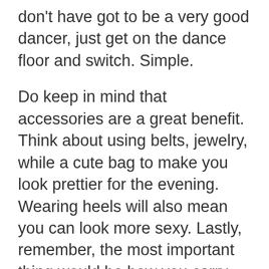don't have got to be a very good dancer, just get on the dance floor and switch. Simple.
Do keep in mind that accessories are a great benefit. Think about using belts, jewelry, while a cute bag to make you look prettier for the evening. Wearing heels will also mean you can look more sexy. Lastly, remember, the most important thing would be how you carry the gown you are wearing. Some can do and some can't.
Uncategorized
2 Underrated Las Vegas Alternatives To Clubs
Eppicard – A Convenient And Instant Mode Of Payment